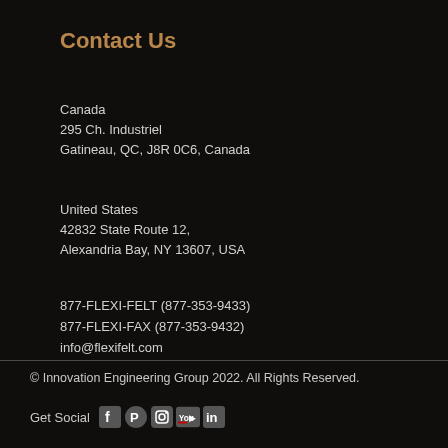Contact Us
Canada
295 Ch. Industriel
Gatineau, QC, J8R 0C6, Canada
United States
42832 State Route 12,
Alexandria Bay, NY 13607, USA
877-FLEXI-FELT (877-353-9433)
877-FLEXI-FAX (877-353-9432)
info@flexifelt.com
© Innovation Engineering Group 2022. All Rights Reserved.
Get Social [Facebook] [Pinterest] [Instagram] [YouTube] [LinkedIn]